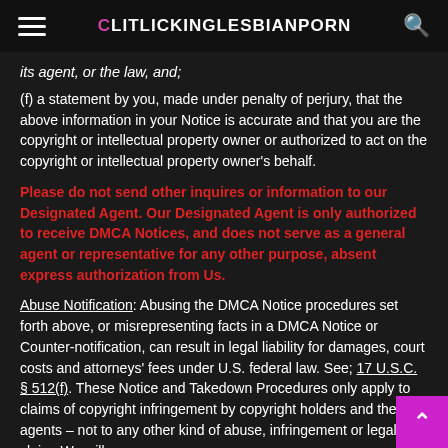CLITLICKINGLESBIANPORN
its agent, or the law, and;
(f) a statement by you, made under penalty of perjury, that the above information in your Notice is accurate and that you are the copyright or intellectual property owner or authorized to act on the copyright or intellectual property owner's behalf.
Please do not send other inquires or information to our Designated Agent. Our Designated Agent is only authorized to receive DMCA Notices, and does not serve as a general agent or representative for any other purpose, absent express authorization from Us.
Abuse Notification: Abusing the DMCA Notice procedures set forth above, or misrepresenting facts in a DMCA Notice or Counter-notification, can result in legal liability for damages, court costs and attorneys' fees under U.S. federal law. See; 17 U.S.C. § 512(f). These Notice and Takedown Procedures only apply to claims of copyright infringement by copyright holders and their agents – not to any other kind of abuse, infringement or legal claim. We will